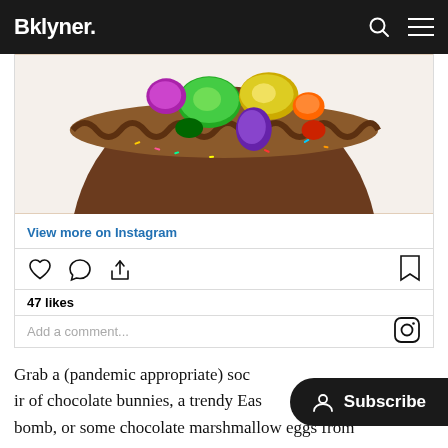Bklyner.
[Figure (photo): Instagram embed showing a chocolate Easter egg filled with colorful foil-wrapped chocolate eggs and candy, with decorative piped chocolate border and sprinkles. Below the photo are Instagram action icons (heart, comment, share, bookmark), a likes count of 47 likes, and a comment input field.]
View more on Instagram
47 likes
Add a comment...
Grab a (pandemic appropriate) socially distanced pair of chocolate bunnies, a trendy Easter chocolate bomb, or some chocolate marshmallow eggs from